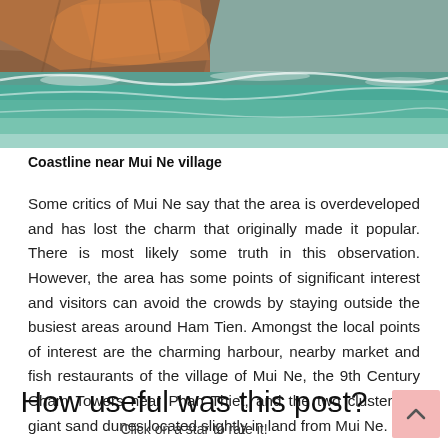[Figure (photo): Coastline near Mui Ne village showing rocky outcrops and ocean waves]
Coastline near Mui Ne village
Some critics of Mui Ne say that the area is overdeveloped and has lost the charm that originally made it popular. There is most likely some truth in this observation. However, the area has some points of significant interest and visitors can avoid the crowds by staying outside the busiest areas around Ham Tien. Amongst the local points of interest are the charming harbour, nearby market and fish restaurants of the village of Mui Ne, the 9th Century Cham Towers near Phan Thiet, and the two clusters of giant sand dunes located slightly in land from Mui Ne.
How useful was this post?
Click on a star to rate it!